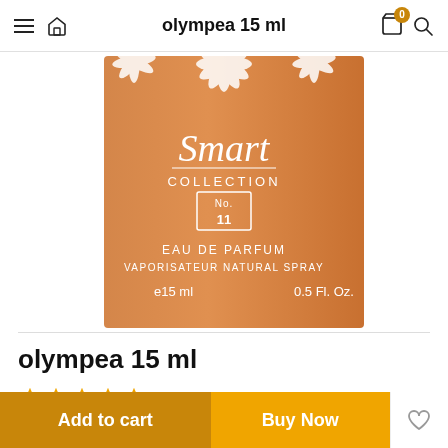olympea 15 ml
[Figure (photo): Smart Collection No. 11 Eau de Parfum perfume box in orange/peach color with white script text. Text on box: Smart COLLECTION No. 11 EAU DE PARFUM VAPORISATEUR NATURAL SPRAY e15 ml  0.5 Fl. Oz.]
olympea 15 ml
Sold: 181